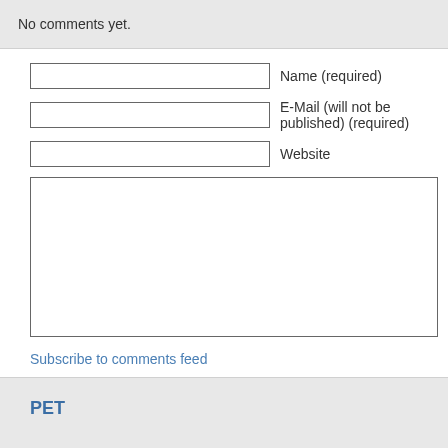No comments yet.
Name (required)
E-Mail (will not be published) (required)
Website
Subscribe to comments feed
PET